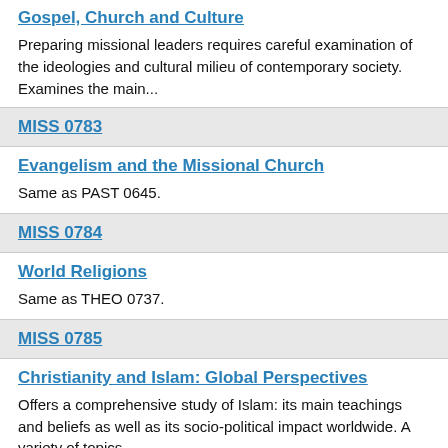Gospel, Church and Culture
Preparing missional leaders requires careful examination of the ideologies and cultural milieu of contemporary society. Examines the main...
MISS 0783
Evangelism and the Missional Church
Same as PAST 0645.
MISS 0784
World Religions
Same as THEO 0737.
MISS 0785
Christianity and Islam: Global Perspectives
Offers a comprehensive study of Islam: its main teachings and beliefs as well as its socio-political impact worldwide. A variety of topics...